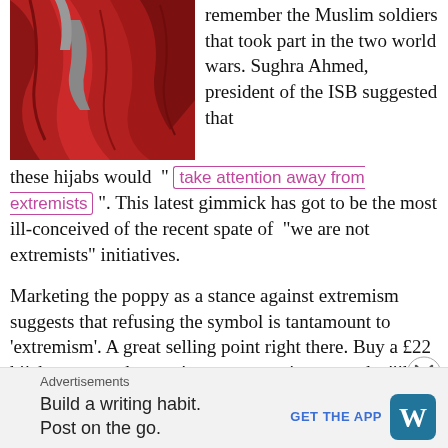[Figure (photo): Close-up photo of red fabric/hijab with grey fabric visible underneath]
remember the Muslim soldiers that took part in the two world wars. Sughra Ahmed, president of the ISB suggested that these hijabs would “
take attention away from extremists
”. This latest gimmick has got to be the most ill-conceived of the recent spate of “we are not extremists” initiatives.
Marketing the poppy as a stance against extremism suggests that refusing the symbol is tantamount to ‘extremism’. A great selling point right there. Buy a £22 hijab to prove that you’re not a terrorist, wannabe ‘jihadi bride’ – planning on running off to Syria to find your ISIS
Advertisements
Build a writing habit.
Post on the go.
GET THE APP